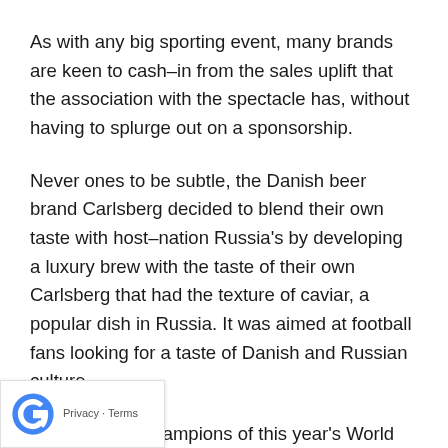As with any big sporting event, many brands are keen to cash–in from the sales uplift that the association with the spectacle has, without having to splurge out on a sponsorship.
Never ones to be subtle, the Danish beer brand Carlsberg decided to blend their own taste with host–nation Russia's by developing a luxury brew with the taste of their own Carlsberg that had the texture of caviar, a popular dish in Russia. It was aimed at football fans looking for a taste of Danish and Russian culture.
However, the champions of this year's World Cup marketing stunt has to go to the Irish bookmaker Paddy [Power] who caused a storm with its polar bear stunt. [They] began by streaming a supposedly 'live' clip of a Russian polar bear being spray painted with an English